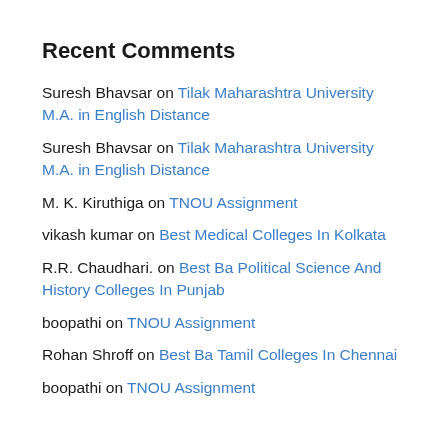Recent Comments
Suresh Bhavsar on Tilak Maharashtra University M.A. in English Distance
Suresh Bhavsar on Tilak Maharashtra University M.A. in English Distance
M. K. Kiruthiga on TNOU Assignment
vikash kumar on Best Medical Colleges In Kolkata
R.R. Chaudhari. on Best Ba Political Science And History Colleges In Punjab
boopathi on TNOU Assignment
Rohan Shroff on Best Ba Tamil Colleges In Chennai
boopathi on TNOU Assignment